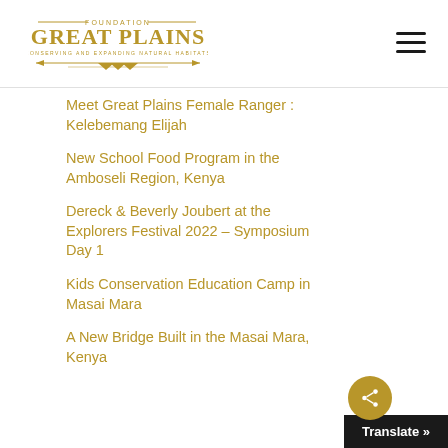Foundation Great Plains — Conserving and Expanding Natural Habitats
Meet Great Plains Female Ranger : Kelebemang Elijah
New School Food Program in the Amboseli Region, Kenya
Dereck & Beverly Joubert at the Explorers Festival 2022 – Symposium Day 1
Kids Conservation Education Camp in Masai Mara
A New Bridge Built in the Masai Mara, Kenya